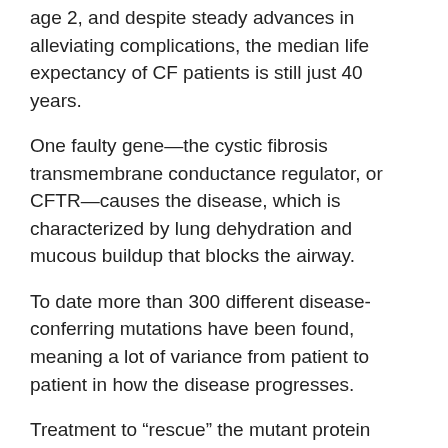age 2, and despite steady advances in alleviating complications, the median life expectancy of CF patients is still just 40 years.
One faulty gene—the cystic fibrosis transmembrane conductance regulator, or CFTR—causes the disease, which is characterized by lung dehydration and mucous buildup that blocks the airway.
To date more than 300 different disease-conferring mutations have been found, meaning a lot of variance from patient to patient in how the disease progresses.
Treatment to “rescue” the mutant protein produced by the bad gene is available to some patients, although almost one patient in five discontinues therapy because of the high cost and the side effects.